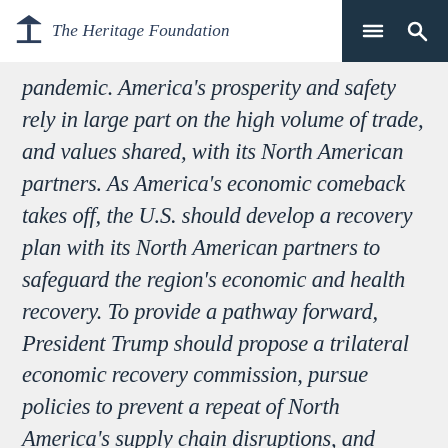The Heritage Foundation
pandemic. America's prosperity and safety rely in large part on the high volume of trade, and values shared, with its North American partners. As America's economic comeback takes off, the U.S. should develop a recovery plan with its North American partners to safeguard the region's economic and health recovery. To provide a pathway forward, President Trump should propose a trilateral economic recovery commission, pursue policies to prevent a repeat of North America's supply chain disruptions, and expand regional collaboration on public